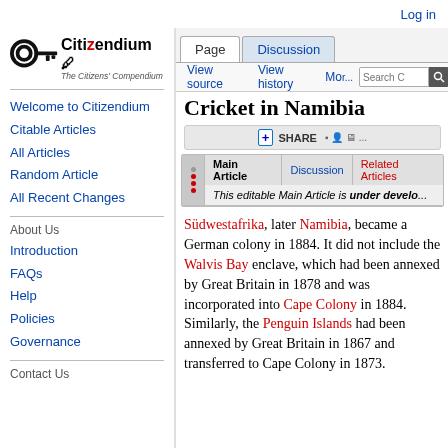Log in
[Figure (logo): Citizendium logo - key icon with 'Citizendium' text and 'The Citizens' Compendium' subtitle]
Welcome to Citizendium
Citable Articles
All Articles
Random Article
All Recent Changes
About Us
Introduction
FAQs
Help
Policies
Governance
Contact Us
Cricket in Namibia
| Main Article | Discussion | Related Articles |
| --- | --- | --- |
| This editable Main Article is under devel... |  |  |
Südwestafrika, later Namibia, became a German colony in 1884. It did not include the Walvis Bay enclave, which had been annexed by Great Britain in 1878 and was incorporated into Cape Colony in 1884. Similarly, the Penguin Islands had been annexed by Great Britain in 1867 and transferred to Cape Colony in 1873.